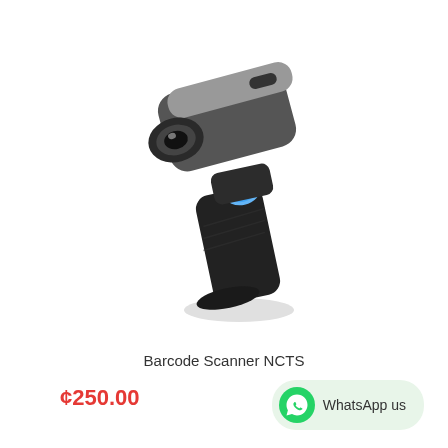[Figure (photo): A handheld barcode scanner with black body, grey accent on the scanning head, and a blue trigger button, shown at an angle against a white background.]
Barcode Scanner NCTS
¢250.00
WhatsApp us